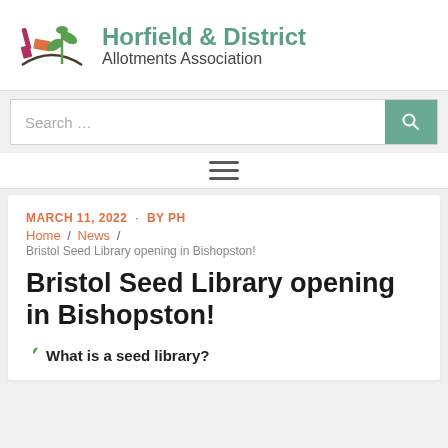[Figure (logo): Horfield & District Allotments Association logo with garden tools and plant illustration]
Horfield & District Allotments Association
Search …
≡ (hamburger menu icon)
MARCH 11, 2022 · BY PH
Home / News /
Bristol Seed Library opening in Bishopston!
Bristol Seed Library opening in Bishopston!
What is a seed library?